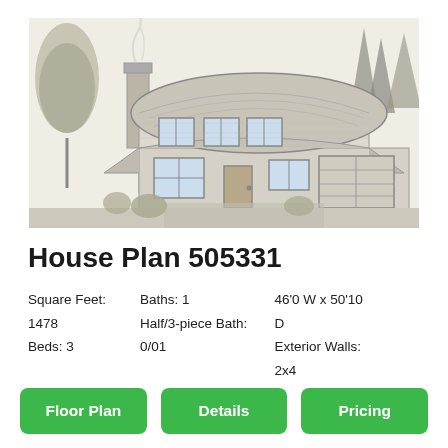[Figure (illustration): Architectural pencil sketch of a two-story house with a domed/hip roof, chimney, attached garage, large windows, and surrounding trees and landscaping.]
House Plan 505331
Square Feet:
1478
Beds: 3
Baths: 1
Half/3-piece Bath:
0/01
46'0 W x 50'10
D
Exterior Walls:
2x4
Floor Plan
Details
Pricing